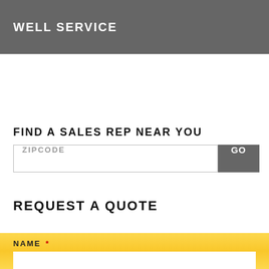WELL SERVICE
FIND A SALES REP NEAR YOU
ZIPCODE
REQUEST A QUOTE
NAME *